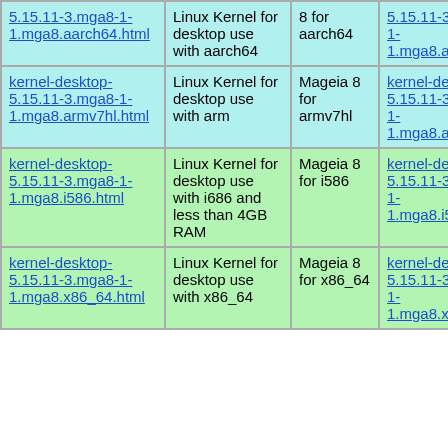| kernel-desktop-5.15.11-3.mga8-1-1.mga8.aarch64.html | Linux Kernel for desktop use with aarch64 | 8 for aarch64 | kernel-desktop-5.15.11-3.mga8-1-1.mga8.aarch64.rpm |
| kernel-desktop-5.15.11-3.mga8-1-1.mga8.armv7hl.html | Linux Kernel for desktop use with arm | Mageia 8 for armv7hl | kernel-desktop-5.15.11-3.mga8-1-1.mga8.armv7hl.rpm |
| kernel-desktop-5.15.11-3.mga8-1-1.mga8.i586.html | Linux Kernel for desktop use with i686 and less than 4GB RAM | Mageia 8 for i586 | kernel-desktop-5.15.11-3.mga8-1-1.mga8.i586.rpm |
| kernel-desktop-5.15.11-3.mga8-1-1.mga8.x86_64.html | Linux Kernel for desktop use with x86_64 | Mageia 8 for x86_64 | kernel-desktop-5.15.11-3.mga8-1-1.mga8.x86_64.rpm |